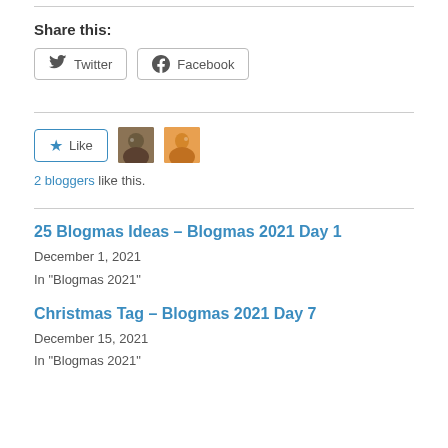Share this:
Twitter
Facebook
Like
2 bloggers like this.
25 Blogmas Ideas – Blogmas 2021 Day 1
December 1, 2021
In "Blogmas 2021"
Christmas Tag – Blogmas 2021 Day 7
December 15, 2021
In "Blogmas 2021"